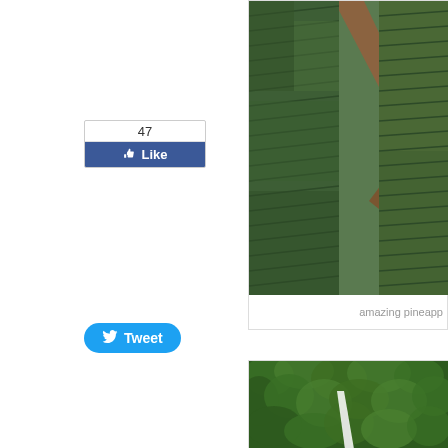[Figure (screenshot): Facebook Like button showing count of 47]
[Figure (screenshot): Twitter Tweet button]
[Figure (photo): Aerial view of pineapple plantation fields with brown dirt road cutting through rows of green pineapple plants]
amazing pineapp
[Figure (photo): Aerial view of lush green forested mountains with a white waterfall or road visible through the dense green canopy]